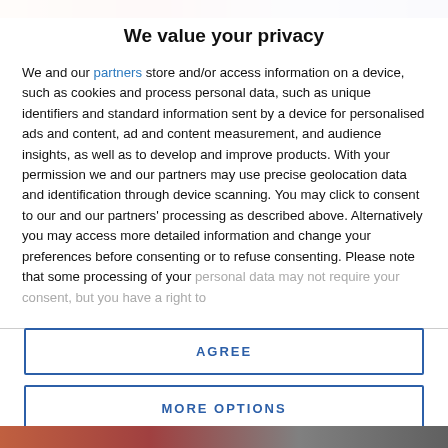[Figure (photo): Colorful top image strip showing partial photo content]
We value your privacy
We and our partners store and/or access information on a device, such as cookies and process personal data, such as unique identifiers and standard information sent by a device for personalised ads and content, ad and content measurement, and audience insights, as well as to develop and improve products. With your permission we and our partners may use precise geolocation data and identification through device scanning. You may click to consent to our and our partners' processing as described above. Alternatively you may access more detailed information and change your preferences before consenting or to refuse consenting. Please note that some processing of your personal data may not require your consent, but you have a right to
AGREE
MORE OPTIONS
[Figure (photo): Colorful bottom image strip showing partial photo content]